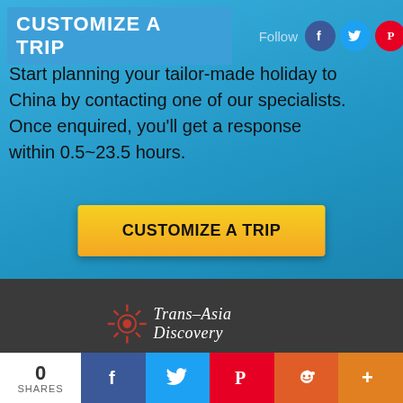CUSTOMIZE A TRIP
Start planning your tailor-made holiday to China by contacting one of our specialists. Once enquired, you'll get a response within 0.5~23.5 hours.
[Figure (other): Yellow button with text CUSTOMIZE A TRIP]
[Figure (logo): Trans-Asia Discovery logo with red sunburst icon]
0 SHARES
[Figure (other): Social sharing bar with Facebook, Twitter, Pinterest, Reddit, and More buttons]